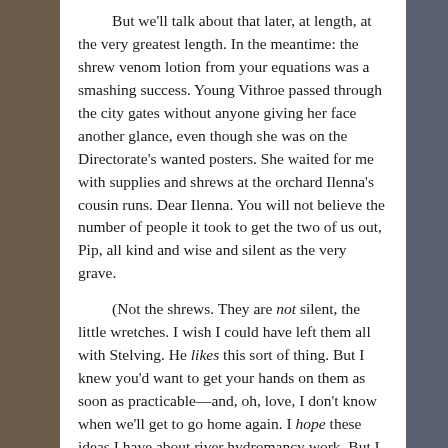But we'll talk about that later, at length, at the very greatest length. In the meantime: the shrew venom lotion from your equations was a smashing success. Young Vithroe passed through the city gates without anyone giving her face another glance, even though she was on the Directorate's wanted posters. She waited for me with supplies and shrews at the orchard Ilenna's cousin runs. Dear Ilenna. You will not believe the number of people it took to get the two of us out, Pip, all kind and wise and silent as the very grave.
(Not the shrews. They are not silent, the little wretches. I wish I could have left them all with Stelving. He likes this sort of thing. But I knew you'd want to get your hands on them as soon as practicable—and, oh, love, I don't know when we'll get to go home again. I hope these ideas I have about river hydromancy work. But I don't know. And we